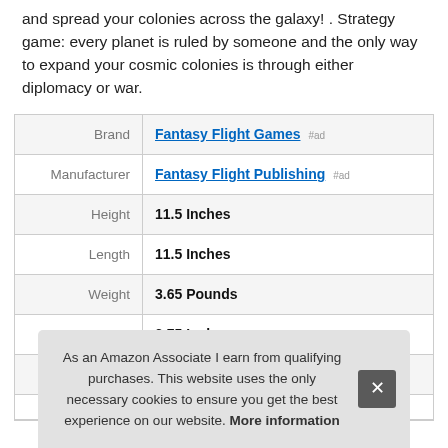and spread your colonies across the galaxy! . Strategy game: every planet is ruled by someone and the only way to expand your cosmic colonies is through either diplomacy or war.
| Attribute | Value |
| --- | --- |
| Brand | Fantasy Flight Games #ad |
| Manufacturer | Fantasy Flight Publishing #ad |
| Height | 11.5 Inches |
| Length | 11.5 Inches |
| Weight | 3.65 Pounds |
| Width | 2.75 Inches |
| P |  |
As an Amazon Associate I earn from qualifying purchases. This website uses the only necessary cookies to ensure you get the best experience on our website. More information